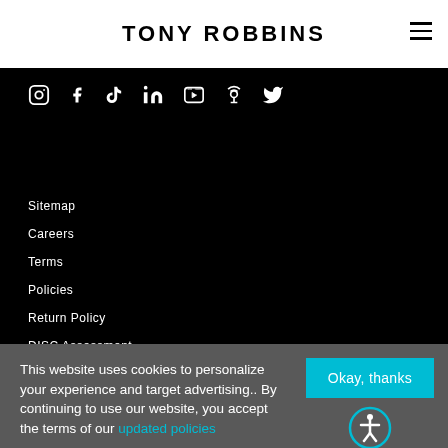TONY ROBBINS
[Figure (other): Social media icons row: Instagram, Facebook, TikTok, LinkedIn, YouTube, Podcast, Twitter — white icons on black background]
Sitemap
Careers
Terms
Policies
Return Policy
DISC Assessment
This website uses cookies to personalize your experience and target advertising.. By continuing to use our website, you accept the terms of our updated policies